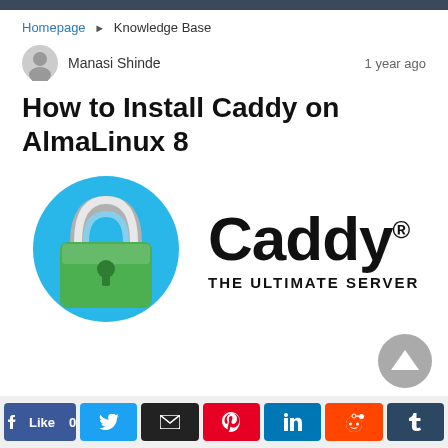Homepage > Knowledge Base
Manasi Shinde — 1 year ago
How to Install Caddy on AlmaLinux 8
[Figure (logo): Caddy web server logo: a padlock icon on a blue circle on the left, and the word 'Caddy' with registered trademark symbol plus 'THE ULTIMATE SERVER' text on the right]
Like 0 | Twitter | Email | Pinterest | LinkedIn | Reddit | Tumblr